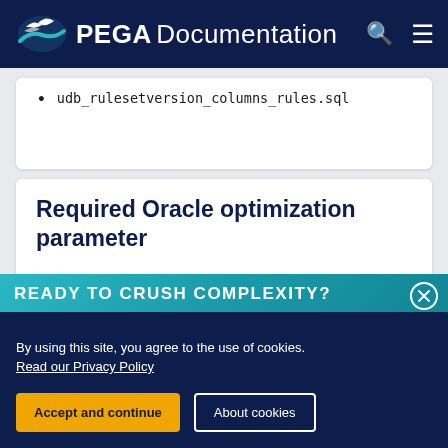PEGA Documentation
udb_rulesetversion_columns_rules.sql
Required Oracle optimization parameter
READY TO CRUSH COMPLEXITY?
By using this site, you agree to the use of cookies. Read our Privacy Policy
Accept and continue   About cookies